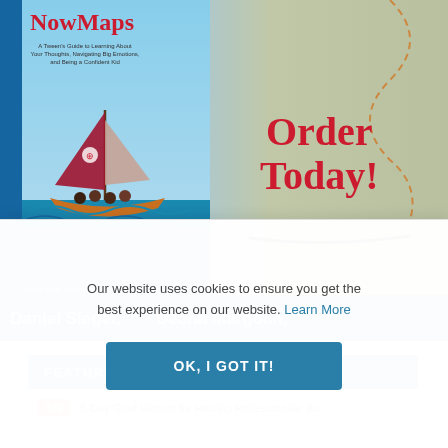[Figure (illustration): Book advertisement for 'NowMaps: A Tween's Guide to Learning About Your Thoughts, Navigating Big Emotions, and Being a Confident Kid' by Daniel Siegel MD and Deena Margolin LMFT. Shows the book cover with a sailboat illustration and 'Order Today!' text with a dashed path on the right side.]
Daniel Siegel, MD • Deena Margolin, LMFT
FEATURED EVENTS
Sep  5-Day Grief Retreat for Healing Professionals: An
Our website uses cookies to ensure you get the best experience on our website. Learn More
OK, I GOT IT!